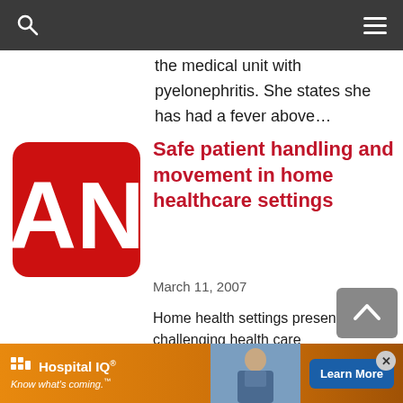[Navigation bar with search and menu icons]
the medical unit with pyelonephritis. She states she has had a fever above…
[Figure (logo): AN logo — white letters A and N on a red rounded-square background]
Safe patient handling and movement in home healthcare settings
March 11, 2007
Home health settings present a challenging health care environment for home healthcare workers who
[Figure (other): Hospital IQ advertisement banner with orange background, nurse photo, and Learn More button]